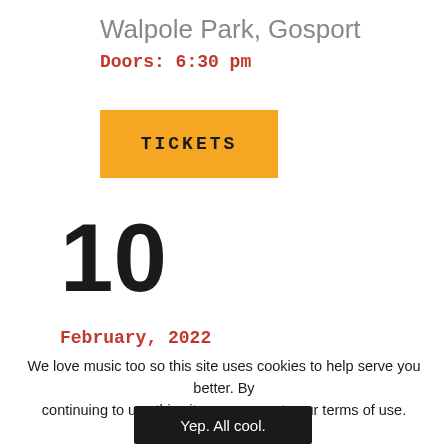Walpole Park, Gosport
Doors: 6:30 pm
[Figure (other): Orange TICKETS button]
10
February, 2022
We love music too so this site uses cookies to help serve you better. By continuing to use this site, you agree to our terms of use.
[Figure (other): Black button with text: Yep. All cool.]